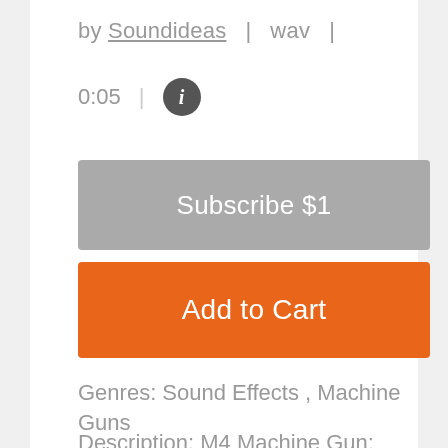by Soundideas  |  wav  |
0:05  |  i
Subscribe $1
Add to Cart
Genres: Sound Effects , Machine Guns
Description: M4 Machine Gun: